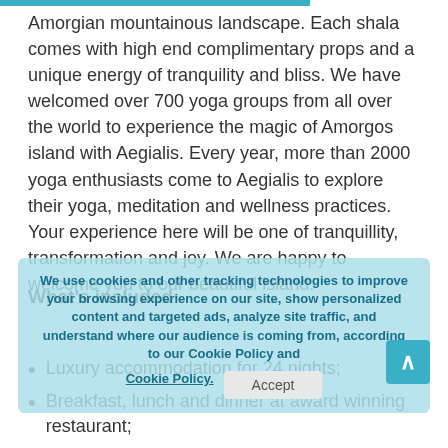Amorgian mountainous landscape. Each shala comes with high end complimentary props and a unique energy of tranquility and bliss. We have welcomed over 700 yoga groups from all over the world to experience the magic of Amorgos island with Aegialis. Every year, more than 2000 yoga enthusiasts come to Aegialis to explore their yoga, meditation and wellness practices. Your experience here will be one of tranquillity, transformation and joy. We are happy to welcome you to our beautiful island.
What's included
Luxury accommodation for 24 nights;
Breakfast, lunch and dinner at award winning restaurant;
Complimentary yoga props;